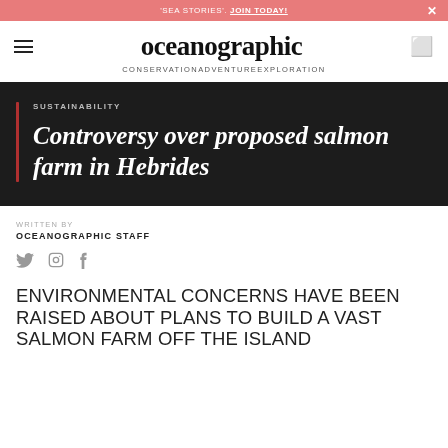'SEA STORIES'. JOIN TODAY!
oceanographic
CONSERVATION   ADVENTURE   EXPLORATION
SUSTAINABILITY
Controversy over proposed salmon farm in Hebrides
WRITTEN BY
OCEANOGRAPHIC STAFF
ENVIRONMENTAL CONCERNS HAVE BEEN RAISED ABOUT PLANS TO BUILD A VAST SALMON FARM OFF THE ISLAND